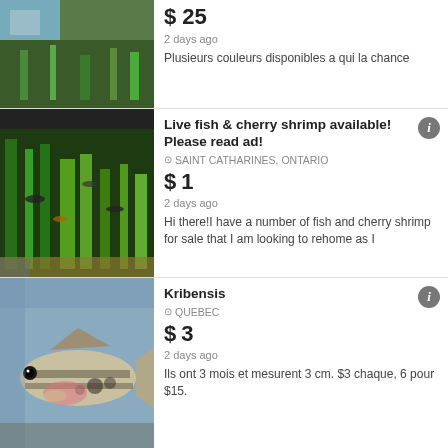[Figure (photo): Partial listing image of aquatic plants/shrimp in tank]
$ 25
2 days ago
Plusieurs couleurs disponibles a qui la chance
[Figure (photo): Fish tank with live fish and plants visible]
Live fish & cherry shrimp available! Please read ad!
SAINT CATHARINES, ONTARIO
$ 1
2 days ago
Hi there!I have a number of fish and cherry shrimp for sale that I am looking to rehome as I
[Figure (photo): Close-up photo of a Kribensis cichlid fish]
Kribensis
QUEBEC
$ 3
2 days ago
Ils ont 3 mois et mesurent 3 cm. $3 chaque, 6 pour $15.
[Figure (photo): Partial view of African Peacock OB cichlid listing]
Cichlidés africains Peacock OB